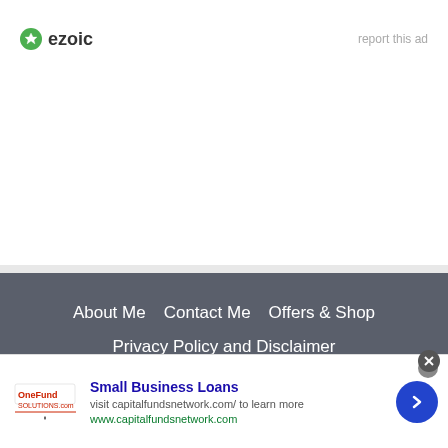[Figure (logo): Ezoic logo with green circular icon and 'ezoic' text in dark]
report this ad
About Me    Contact Me    Offers & Shop
Privacy Policy and Disclaimer
© 2021 Bella Wanana is a personal finance & lifestyle blogger passionate about making money online, budgeting, and frugal living.
No compatible source was found for this media.
Small Business Loans
visit capitalfundsnetwork.com/ to learn more
www.capitalfundsnetwork.com